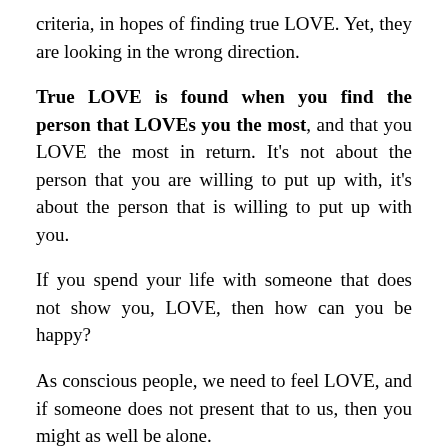criteria, in hopes of finding true LOVE. Yet, they are looking in the wrong direction.
True LOVE is found when you find the person that LOVEs you the most, and that you LOVE the most in return. It’s not about the person that you are willing to put up with, it’s about the person that is willing to put up with you.
If you spend your life with someone that does not show you, LOVE, then how can you be happy?
As conscious people, we need to feel LOVE, and if someone does not present that to us, then you might as well be alone.